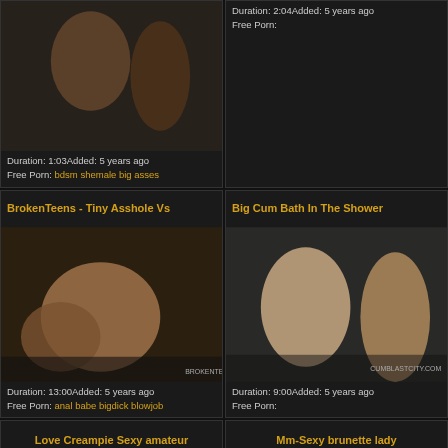[Figure (photo): Adult content thumbnail - top left]
Duration: 2:04Added: 5 years ago
Free Porn:
Duration: 1:03Added: 5 years ago
Free Porn: bdsm shemale big asses
BrokenTeens - Tiny Asshole Vs
Big Cum Bath In The Shower
[Figure (photo): Adult content thumbnail - bottom left]
[Figure (photo): Adult content thumbnail - bottom right]
Duration: 13:00Added: 5 years ago
Free Porn: anal babe bigdick blowjob
Duration: 9:00Added: 5 years ago
Free Porn:
Love Creampie Sexy amateur
Mm-Sexy brunette lady